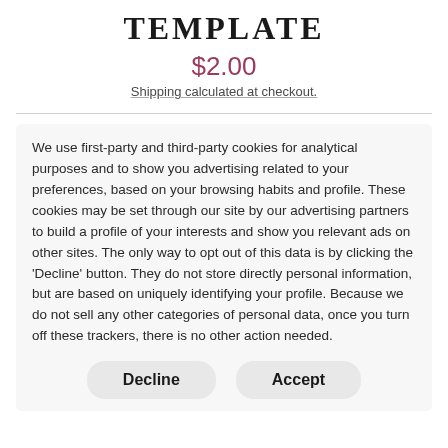TEMPLATE
$2.00
Shipping calculated at checkout.
We use first-party and third-party cookies for analytical purposes and to show you advertising related to your preferences, based on your browsing habits and profile. These cookies may be set through our site by our advertising partners to build a profile of your interests and show you relevant ads on other sites. The only way to opt out of this data is by clicking the 'Decline' button. They do not store directly personal information, but are based on uniquely identifying your profile. Because we do not sell any other categories of personal data, once you turn off these trackers, there is no other action needed.
Decline
Accept